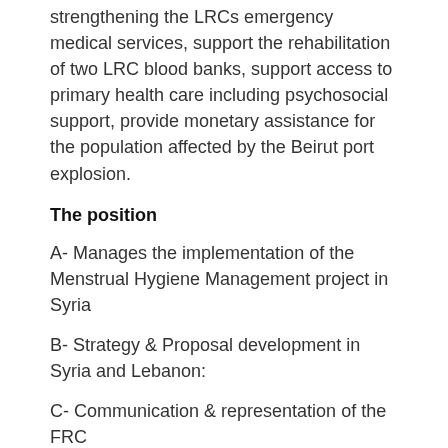strengthening the LRCs emergency medical services, support the rehabilitation of two LRC blood banks, support access to primary health care including psychosocial support, provide monetary assistance for the population affected by the Beirut port explosion.
The position
A- Manages the implementation of the Menstrual Hygiene Management project in Syria
B- Strategy & Proposal development in Syria and Lebanon:
C- Communication & representation of the FRC
E- Capitalization (tools correctly used, improvements of tools,...)